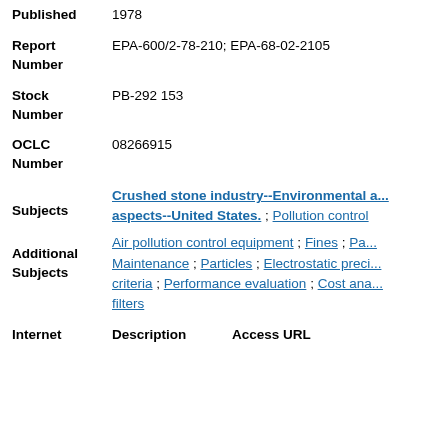1978
Published
Report Number
EPA-600/2-78-210; EPA-68-02-2105
Stock Number
PB-292 153
OCLC Number
08266915
Subjects
Crushed stone industry--Environmental aspects--United States. ; Pollution control ; Air pollution control equipment ; Fines ; Particles ; Maintenance ; Particles ; Electrostatic precipitators ; criteria ; Performance evaluation ; Cost analysis ; filters
Additional Subjects
Internet
Description
Access URL